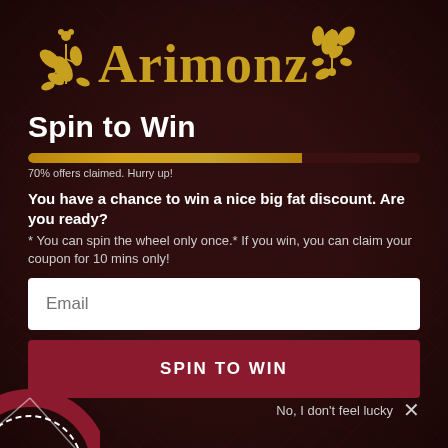[Figure (logo): Arimonz brand logo with gold floral/leaf decorations and text 'Arimonz' in gold serif font on dark background]
Spin to Win
[Figure (infographic): Progress bar showing 70% filled in gold/yellow color on dark track]
70% offers claimed. Hurry up!
You have a chance to win a nice big fat discount. Are you ready?
* You can spin the wheel only once.* If you win, you can claim your coupon for 10 mins only!
Email
SPIN TO WIN
No, I don't feel lucky